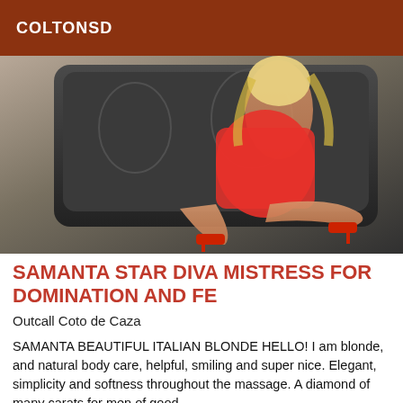COLTONSD
[Figure (photo): Blonde woman in red lingerie and red high heels posed on a dark sofa]
SAMANTA STAR DIVA MISTRESS FOR DOMINATION AND FE
Outcall Coto de Caza
SAMANTA BEAUTIFUL ITALIAN BLONDE HELLO! I am blonde, and natural body care, helpful, smiling and super nice. Elegant, simplicity and softness throughout the massage. A diamond of many carats for men of good